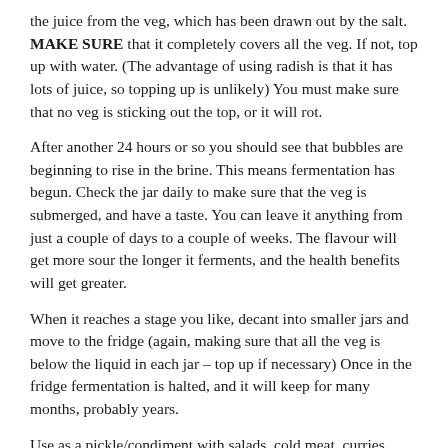the juice from the veg, which has been drawn out by the salt. MAKE SURE that it completely covers all the veg. If not, top up with water. (The advantage of using radish is that it has lots of juice, so topping up is unlikely) You must make sure that no veg is sticking out the top, or it will rot.
After another 24 hours or so you should see that bubbles are beginning to rise in the brine. This means fermentation has begun. Check the jar daily to make sure that the veg is submerged, and have a taste. You can leave it anything from just a couple of days to a couple of weeks. The flavour will get more sour the longer it ferments, and the health benefits will get greater.
When it reaches a stage you like, decant into smaller jars and move to the fridge (again, making sure that all the veg is below the liquid in each jar – top up if necessary) Once in the fridge fermentation is halted, and it will keep for many months, probably years.
Use as a pickle/condiment with salads, cold meat, curries, sandwiches etc.